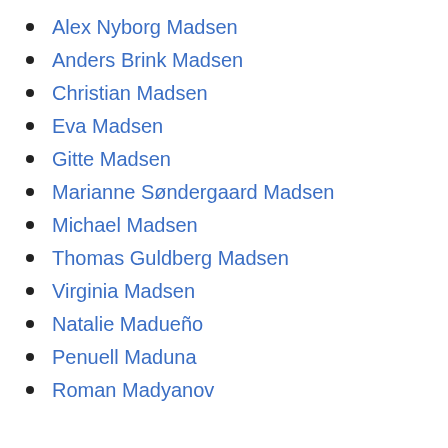Alex Nyborg Madsen
Anders Brink Madsen
Christian Madsen
Eva Madsen
Gitte Madsen
Marianne Søndergaard Madsen
Michael Madsen
Thomas Guldberg Madsen
Virginia Madsen
Natalie Madueño
Penuell Maduna
Roman Madyanov